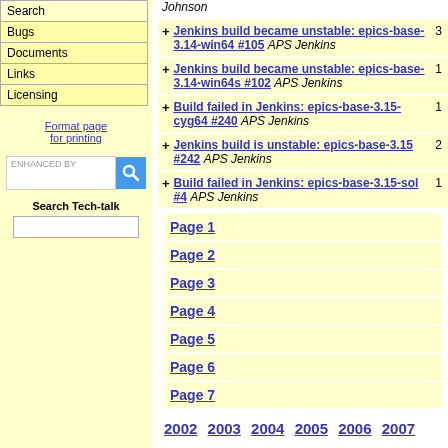Search
Bugs
Documents
Links
Licensing
Format page for printing
ENHANCED BY [search]
Search Tech-talk
Johnson
Jenkins build became unstable: epics-base-3.14-win64 #105 APS Jenkins 3
Jenkins build became unstable: epics-base-3.14-win64s #102 APS Jenkins 1
Build failed in Jenkins: epics-base-3.15-cyg64 #240 APS Jenkins 1
Jenkins build is unstable: epics-base-3.15 #242 APS Jenkins 2
Build failed in Jenkins: epics-base-3.15-sol #4 APS Jenkins 1
Page 1
Page 2
Page 3
Page 4
Page 5
Page 6
Page 7
2002 2003 2004 2005 2006 2007